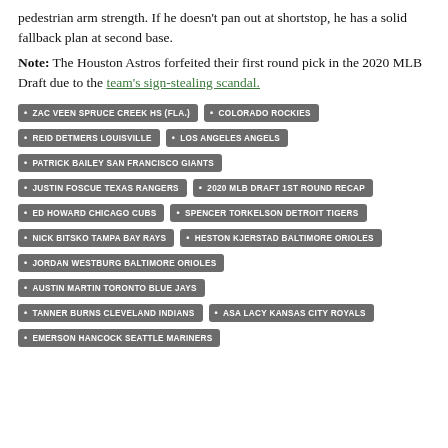pedestrian arm strength. If he doesn't pan out at shortstop, he has a solid fallback plan at second base.
Note: The Houston Astros forfeited their first round pick in the 2020 MLB Draft due to the team's sign-stealing scandal.
ZAC VEEN SPRUCE CREEK HS (FLA.)
COLORADO ROCKIES
REID DETMERS LOUISVILLE
LOS ANGELES ANGELS
PATRICK BAILEY SAN FRANCISCO GIANTS
JUSTIN FOSCUE TEXAS RANGERS
2020 MLB DRAFT 1ST ROUND RECAP
ED HOWARD CHICAGO CUBS
SPENCER TORKELSON DETROIT TIGERS
NICK BITSKO TAMPA BAY RAYS
HESTON KJERSTAD BALTIMORE ORIOLES
JORDAN WESTBURG BALTIMORE ORIOLES
AUSTIN MARTIN TORONTO BLUE JAYS
TANNER BURNS CLEVELAND INDIANS
ASA LACY KANSAS CITY ROYALS
EMERSON HANCOCK SEATTLE MARINERS